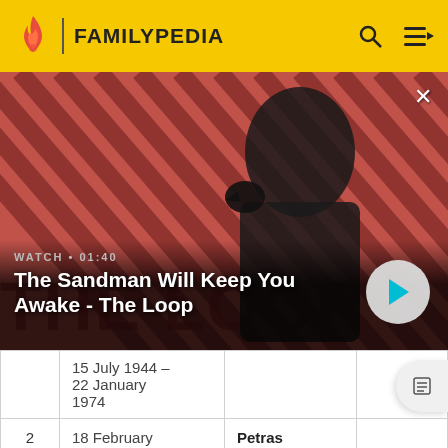FAMILYPEDIA
[Figure (screenshot): Video banner showing 'The Sandman Will Keep You Awake - The Loop' with a dark figure and a raven. Watch duration 01:40. Red and black diagonal stripe background.]
|  | Date | Name |  |
| --- | --- | --- | --- |
|  | 15 July 1944 –
22 January 1974 |  |  |
| 2 | 18 February 1974 – 14 November 1987 | Petras Griškevičius |  |